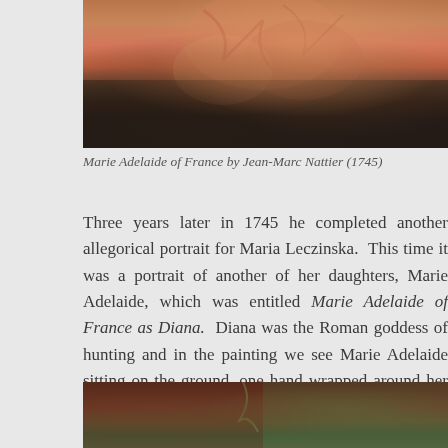[Figure (photo): Partial view of a painting showing figures in classical dress with warm pinkish-red and earth tones, cropped at top]
Marie Adelaide of France by Jean-Marc Nattier (1745)
Three years later in 1745 he completed another allegorical portrait for Maria Leczinska. This time it was a portrait of another of her daughters, Marie Adelaide, which was entitled Marie Adelaide of France as Diana. Diana was the Roman goddess of hunting and in the painting we see Marie Adelaide sitting on the ground, one hand wrapped around her bow whilst the other hand withdraws an arrow from its quiver. Both the paintings of Louis XV's daughters can now be seen at the Uffizi Gallery in Florence.
[Figure (photo): Partial view of another painting showing deep red-brown and green tones, cropped at bottom of page]